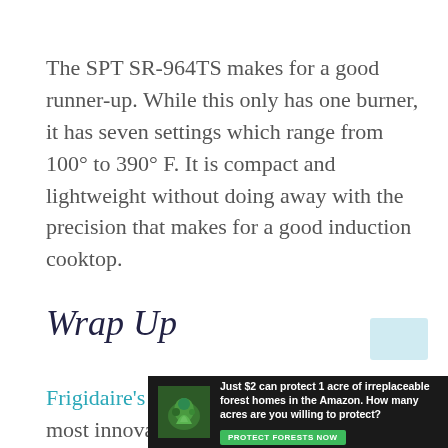The SPT SR-964TS makes for a good runner-up. While this only has one burner, it has seven settings which range from 100° to 390° F. It is compact and lightweight without doing away with the precision that makes for a good induction cooktop.
Wrap Up
Frigidaire's induction cooktop is easily the most innovative option on this list. It's packed with numerous features and is designed for the experiential chef.
[Figure (other): Advertisement banner: 'Just $2 can protect 1 acre of irreplaceable forest homes in the Amazon. How many acres are you willing to protect?' with a Protect Forests Now button and a nature background image.]